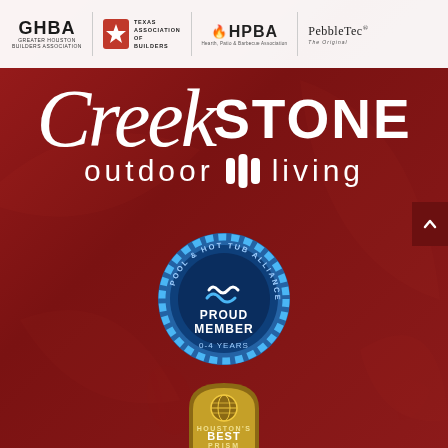[Figure (logo): Header bar with association logos: GHBA (Greater Houston Builders Association), Texas Association of Builders (star logo), HPBA (Hearth, Patio & Barbecue Association), PebbleTec The Original]
Creek STONE outdoor living
[Figure (logo): Pool & Hot Tub Alliance - Proud Member 0-4 Years badge (circular blue badge with gear/sunburst border)]
[Figure (logo): Houston's Best Prism award badge (gold arch with globe icon)]